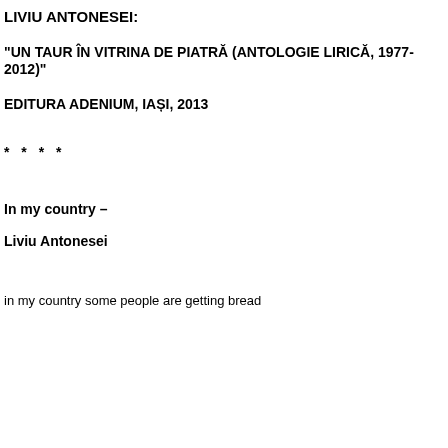LIVIU ANTONESEI:
"UN TAUR ÎN VITRINA DE PIATRĂ (ANTOLOGIE LIRICĂ, 1977-2012)"
EDITURA ADENIUM, IAȘI, 2013
* * * *
In my country –
Liviu Antonesei
in my country some people are getting bread